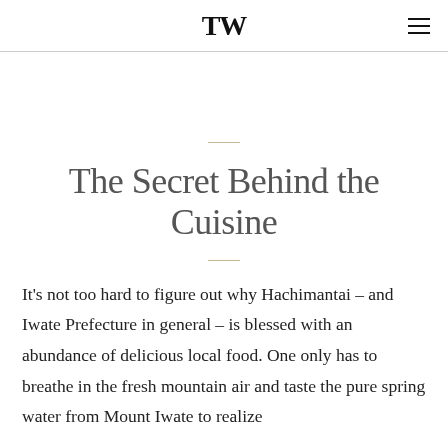TW
The Secret Behind the Cuisine
It's not too hard to figure out why Hachimantai – and Iwate Prefecture in general – is blessed with an abundance of delicious local food. One only has to breathe in the fresh mountain air and taste the pure spring water from Mount Iwate to realize